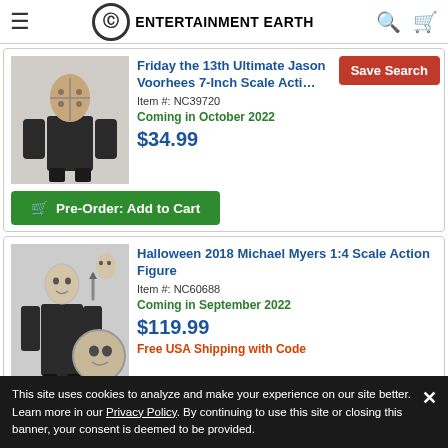Entertainment Earth
[Figure (photo): Friday the 13th Jason Voorhees action figure in black outfit with hockey mask]
Friday the 13th Ultimate Jason Voorhees 7-Inch Scale Action Figure
Item #: NC39720
Coming in October 2022
$34.99
Pre-Order: Add to Cart
[Figure (photo): Halloween 2018 Michael Myers 1:4 Scale action figure with accessories including mask and knife, plus detailed head sculpt]
Halloween 2018 Michael Myers 1:4 Scale Action Figure
Item #: NC60688
Coming in September 2022
$119.99
Free USA Shipping with Code
This site uses cookies to analyze and make your experience on our site better. Learn more in our Privacy Policy. By continuing to use this site or closing this banner, your consent is deemed to be provided.